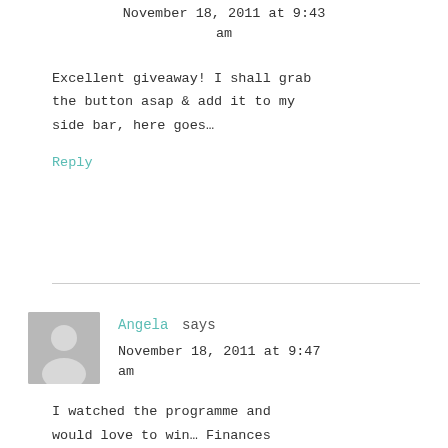November 18, 2011 at 9:43 am
Excellent giveaway! I shall grab the button asap & add it to my side bar, here goes…
Reply
Angela says
November 18, 2011 at 9:47 am
I watched the programme and would love to win… Finances